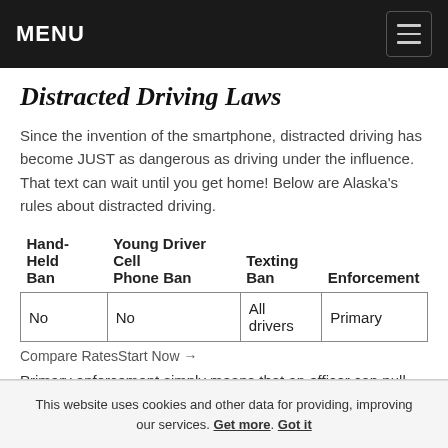MENU
Distracted Driving Laws
Since the invention of the smartphone, distracted driving has become JUST as dangerous as driving under the influence. That text can wait until you get home! Below are Alaska's rules about distracted driving.
| Hand-Held Ban | Young Driver Cell Phone Ban | Texting Ban | Enforcement |
| --- | --- | --- | --- |
| No | No | All drivers | Primary |
Compare RatesStart Now →
Primary enforcement simply means that an officer can pull you over JUST for texting on your phone.
This website uses cookies and other data for providing, improving our services. Get more. Got it